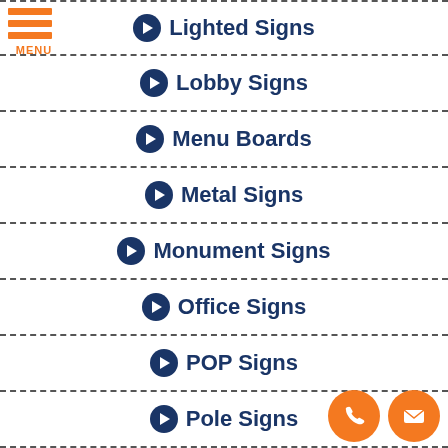[Figure (other): Orange hamburger menu icon with three horizontal bars and MENU label below]
Lighted Signs
Lobby Signs
Menu Boards
Metal Signs
Monument Signs
Office Signs
POP Signs
Pole Signs
[Figure (other): Orange circle icons for phone and email at bottom right]